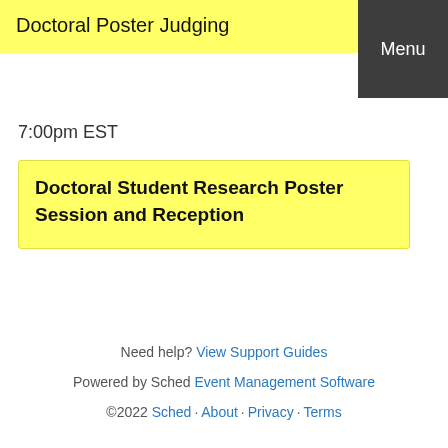Doctoral Poster Judging
Menu
7:00pm EST
Doctoral Student Research Poster Session and Reception
Need help? View Support Guides
Powered by Sched Event Management Software
©2022 Sched · About · Privacy · Terms